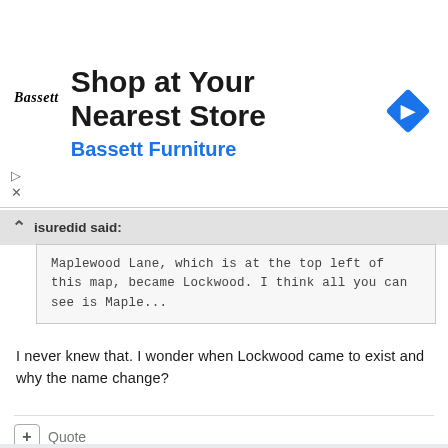[Figure (infographic): Advertisement banner for Bassett Furniture: 'Shop at Your Nearest Store' with Bassett logo and navigation icon]
isuredid said:
Maplewood Lane, which is at the top left of this map, became Lockwood. I think all you can see is Maple...
I never knew that. I wonder when Lockwood came to exist and why the name change?
+ Quote
Vertigo58
Posted January 12, 2007